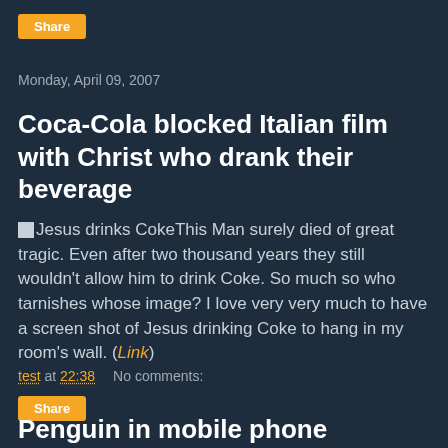[Figure (other): Orange Share button at top of page]
Monday, April 09, 2007
Coca-Cola blocked Italian film with Christ who drank their beverage
This Man surely died of great tragic. Even after two thousand years they still wouldn't allow him to drink Coke. So much so who tarnishes whose image? I love very very much to have a screen shot of Jesus drinking Coke to hang in my room's wall. (Link)
test at 22:38    No comments:
[Figure (other): Orange Share button below post]
Penguin in mobile phone